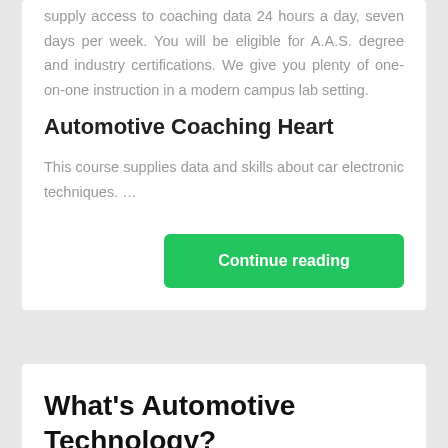supply access to coaching data 24 hours a day, seven days per week. You will be eligible for A.A.S. degree and industry certifications. We give you plenty of one-on-one instruction in a modern campus lab setting.
Automotive Coaching Heart
This course supplies data and skills about car electronic techniques. …
Continue reading
What's Automotive Technology?
Posted on 23/11/2021